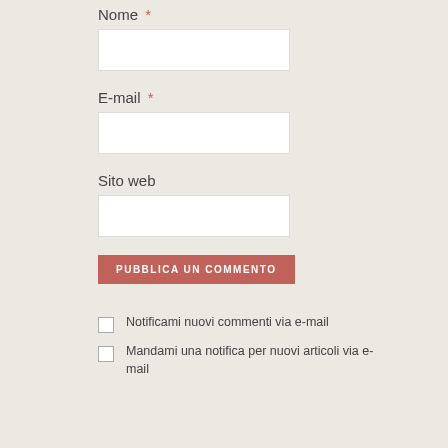Nome *
[Figure (other): Text input field for Nome (name)]
E-mail *
[Figure (other): Text input field for E-mail]
Sito web
[Figure (other): Text input field for Sito web (website)]
PUBBLICA UN COMMENTO
Notificami nuovi commenti via e-mail
Mandami una notifica per nuovi articoli via e-mail